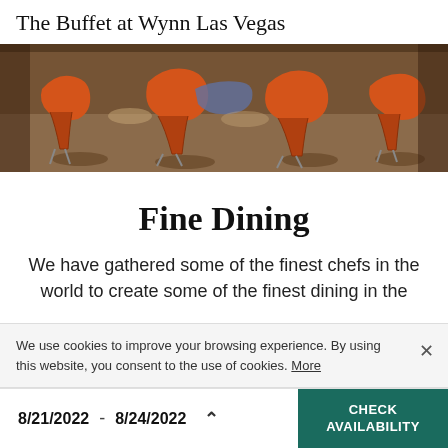The Buffet at Wynn Las Vegas
[Figure (photo): Interior photo of restaurant dining area showing orange/red modern chairs around tables on a wooden floor, warm ambient lighting]
Fine Dining
We have gathered some of the finest chefs in the world to create some of the finest dining in the
We use cookies to improve your browsing experience. By using this website, you consent to the use of cookies. More
8/21/2022 - 8/24/2022
CHECK AVAILABILITY